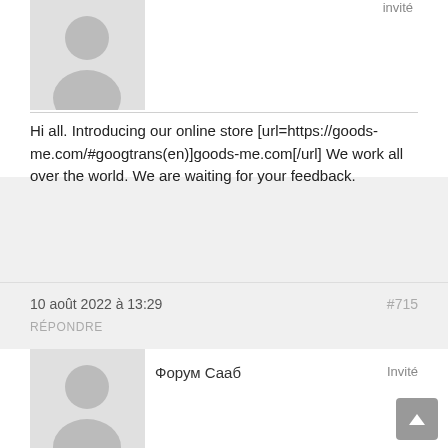[Figure (illustration): Silhouette avatar placeholder image for first user]
invité
Hi all. Introducing our online store [url=https://goods-me.com/#googtrans(en)]goods-me.com[/url] We work all over the world. We are waiting for your feedback.
10 août 2022 à 13:29
#715
RÉPONDRE
Форум Сааб
[Figure (illustration): Silhouette avatar placeholder image for Форум Сааб user]
Invité
[B]Автозвук.[/B] [URL=https://saabclub.xf2.site/index.php?forums/99-900-og.18/]сааб клуб – форум[/URL] [U]Обмен опытом. Обсуждение новостей в мире авто. Общие технические вопросы.[/U]